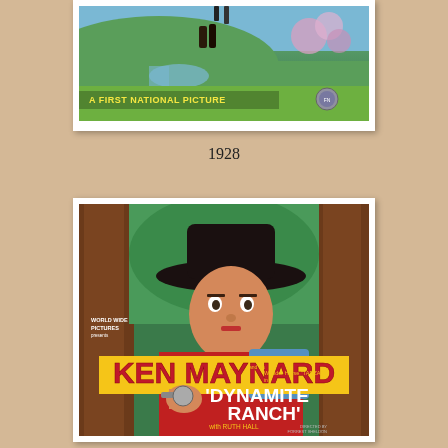[Figure (illustration): Top portion of a vintage 1928 First National Picture movie poster showing a pastoral outdoor scene with figures, a river, green foliage, and flowers. Text reads 'A FIRST NATIONAL PICTURE' with the First National Pictures lion logo.]
1928
[Figure (illustration): Vintage movie poster for 'Dynamite Ranch' featuring Ken Maynard in a large cowboy hat peering from behind a tree, holding a gun. Text: 'WORLD WIDE PICTURES presents', 'KEN MAYNARD', 'and his Wonder Horse TARZAN in', 'DYNAMITE RANCH', 'with RUTH HALL', 'DIRECTED BY FORREST SHELDON']